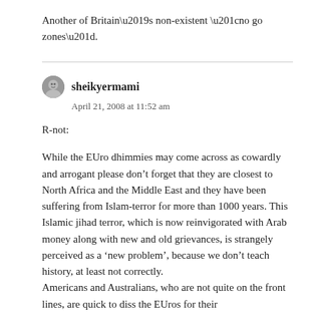Another of Britain’s non-existent “no go zones”.
sheikyermami
April 21, 2008 at 11:52 am
R-not:
While the EUro dhimmies may come across as cowardly and arrogant please don’t forget that they are closest to North Africa and the Middle East and they have been suffering from Islam-terror for more than 1000 years. This Islamic jihad terror, which is now reinvigorated with Arab money along with new and old grievances, is strangely perceived as a ‘new problem’, because we don’t teach history, at least not correctly.
Americans and Australians, who are not quite on the front lines, are quick to diss the EUros for their